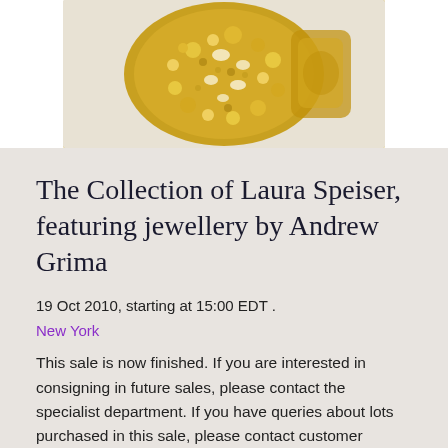[Figure (photo): Close-up photograph of an ornate gold jewellery piece, heavily encrusted with yellow gemstones and gold beads, photographed against a cream/white background.]
The Collection of Laura Speiser, featuring jewellery by Andrew Grima
19 Oct 2010, starting at 15:00 EDT .
New York
This sale is now finished. If you are interested in consigning in future sales, please contact the specialist department. If you have queries about lots purchased in this sale, please contact customer